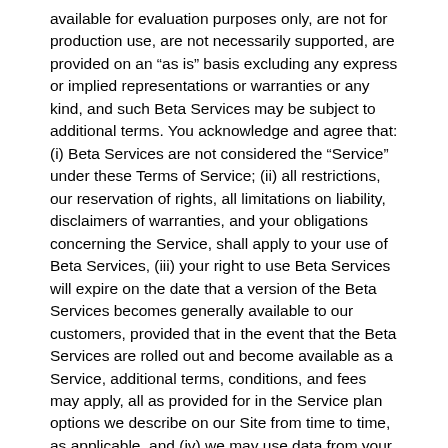available for evaluation purposes only, are not for production use, are not necessarily supported, are provided on an "as is" basis excluding any express or implied representations or warranties or any kind, and such Beta Services may be subject to additional terms. You acknowledge and agree that: (i) Beta Services are not considered the "Service" under these Terms of Service; (ii) all restrictions, our reservation of rights, all limitations on liability, disclaimers of warranties, and your obligations concerning the Service, shall apply to your use of Beta Services, (iii) your right to use Beta Services will expire on the date that a version of the Beta Services becomes generally available to our customers, provided that in the event that the Beta Services are rolled out and become available as a Service, additional terms, conditions, and fees may apply, all as provided for in the Service plan options we describe on our Site from time to time, as applicable, and (iv) we may use data from your use